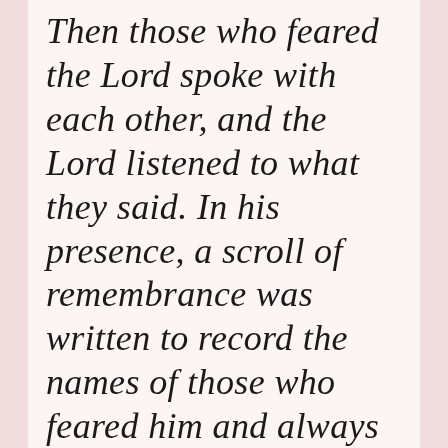Then those who feared the Lord spoke with each other, and the Lord listened to what they said. In his presence, a scroll of remembrance was written to record the names of those who feared him and always thought about the honor of his name.
Malachi 3:16 NLT